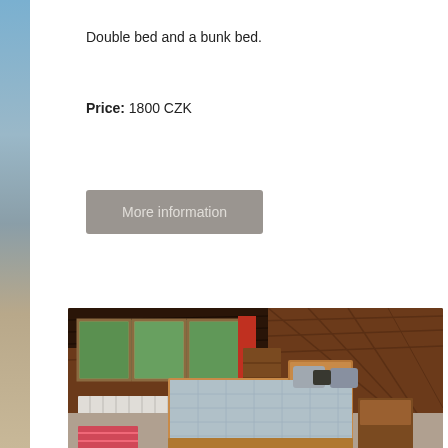Double bed and a bunk bed.
Price: 1800 CZK
More information
[Figure (photo): Interior bedroom photo showing a wooden cabin room with a double bed with wooden frame, pillows, white mattress cover, windows with red curtains showing trees outside, white radiator, wooden walls and ceiling, nightstand, and a red rug on the floor.]